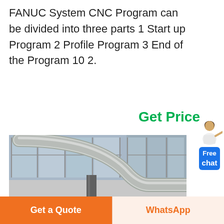FANUC System CNC Program can be divided into three parts 1 Start up Program 2 Profile Program 3 End of the Program 10 2.
Get Price
[Figure (photo): Industrial facility interior showing large silver metallic ductwork/pipes running along the ceiling and walls, with large windows allowing natural light, and industrial equipment on the floor below.]
Free chat
Get a Quote
WhatsApp